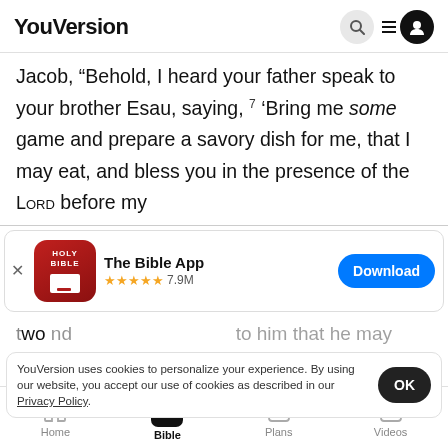YouVersion
Jacob, “Behold, I heard your father speak to your brother Esau, saying, ⁷ ‘Bring me some game and prepare a savory dish for me, that I may eat, and bless you in the presence of the LORD before my
[Figure (screenshot): The Bible App download banner with Holy Bible icon, 5 star rating 7.9M reviews, and Download button]
YouVersion uses cookies to personalize your experience. By using our website, you accept our use of cookies as described in our Privacy Policy.
as he loves.    Then you shall bring it to your
Home  Bible  Plans  Videos